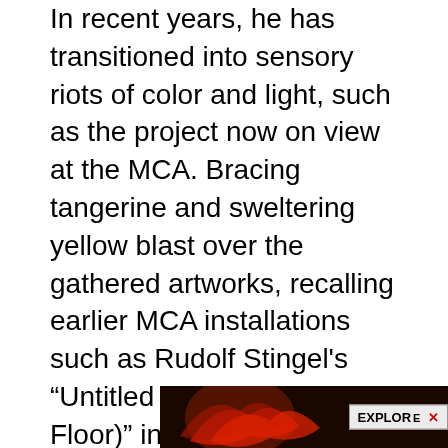In recent years, he has transitioned into sensory riots of color and light, such as the project now on view at the MCA. Bracing tangerine and sweltering yellow blast over the gathered artworks, recalling earlier MCA installations such as Rudolf Stingel's “Untitled (Orange Carpet on Floor)” in 2007 and Olafur Eliasson’s hallway of intense yellow light in 2009. Remembrance and art-historical play are apropos here as Gerber has included works produced over the past fifty years by other artists living and deceased, men and women, drawn from the MCA’s collection and on loan.
[Figure (photo): Advertisement banner showing a dark reddish-brown background with what appears to be a red leaf or floral shape, with an EXPLORE button and close (X) button in the upper right.]